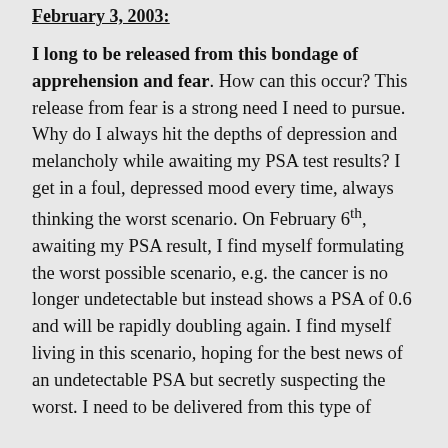February 3, 2003:
I long to be released from this bondage of apprehension and fear. How can this occur? This release from fear is a strong need I need to pursue. Why do I always hit the depths of depression and melancholy while awaiting my PSA test results? I get in a foul, depressed mood every time, always thinking the worst scenario. On February 6th, awaiting my PSA result, I find myself formulating the worst possible scenario, e.g. the cancer is no longer undetectable but instead shows a PSA of 0.6 and will be rapidly doubling again. I find myself living in this scenario, hoping for the best news of an undetectable PSA but secretly suspecting the worst. I need to be delivered from this type of